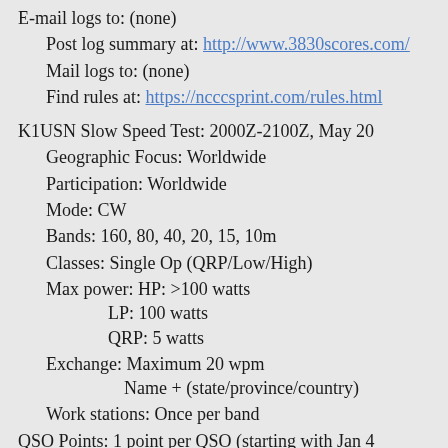E-mail logs to: (none)
Post log summary at: http://www.3830scores.com/
Mail logs to: (none)
Find rules at: https://ncccsprint.com/rules.html
K1USN Slow Speed Test: 2000Z-2100Z, May 20
Geographic Focus: Worldwide
Participation: Worldwide
Mode: CW
Bands: 160, 80, 40, 20, 15, 10m
Classes: Single Op (QRP/Low/High)
Max power: HP: >100 watts
       LP: 100 watts
       QRP: 5 watts
Exchange: Maximum 20 wpm
       Name + (state/province/country)
Work stations: Once per band
QSO Points: 1 point per QSO (starting with Jan 4 contest)
Multipliers: Each state/province/country once per